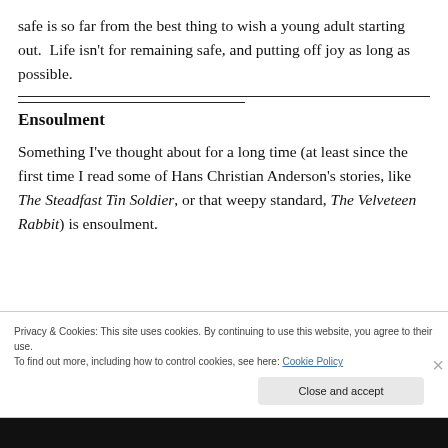safe is so far from the best thing to wish a young adult starting out.  Life isn't for remaining safe, and putting off joy as long as possible.
Something I've thought about for a long time (at least since the first time I read some of Hans Christian Anderson's stories, like The Steadfast Tin Soldier, or that weepy standard, The Velveteen Rabbit) is ensoulment.
Ensoulment
Privacy & Cookies: This site uses cookies. By continuing to use this website, you agree to their use.
To find out more, including how to control cookies, see here: Cookie Policy